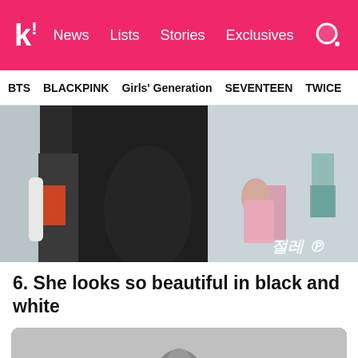k! News  Lists  Stories  Exclusives
BTS  BLACKPINK  Girls' Generation  SEVENTEEN  TWICE
[Figure (photo): Close-up photo of a person in black outfit holding a pink phone/wallet, airport setting. Korean watermark text in bottom right corner.]
6. She looks so beautiful in black and white
[Figure (photo): Partial photo at bottom of page, appears to be grayscale, only top portion visible.]